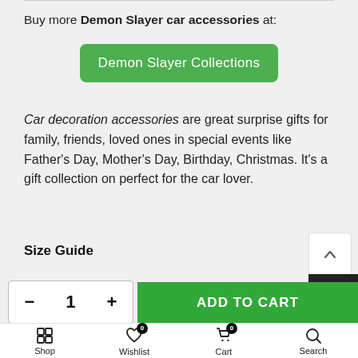Buy more Demon Slayer car accessories at:
Demon Slayer Collections
Car decoration accessories are great surprise gifts for family, friends, loved ones in special events like Father's Day, Mother's Day, Birthday, Christmas. It's a gift collection on perfect for the car lover.
Size Guide
- 1 + | ADD TO CART
Shop | Wishlist 0 | Cart 0 | Search